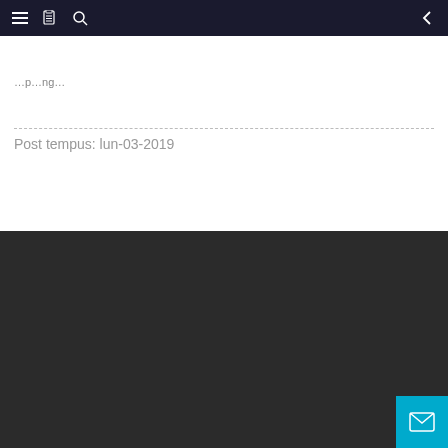Navigation bar with hamburger menu, book icon, search icon, and back arrow
Post tempus: lun-03-2019
Welcome consulere
PET O A QUOTE
[Figure (other): Social media icons row: Facebook, Twitter, Pinterest, Instagram, YouTube — grey circles]
[Figure (other): Cyan mail/envelope button in bottom-right corner]